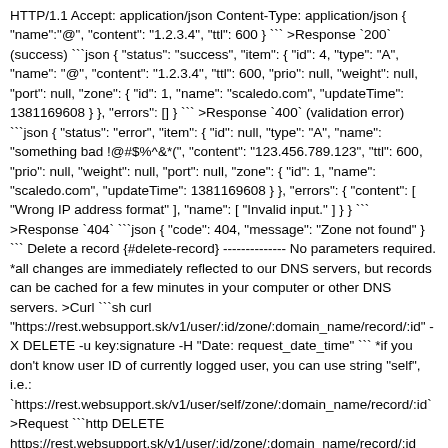HTTP/1.1 Accept: application/json Content-Type: application/json { "name":"@", "content": "1.2.3.4", "ttl": 600 } ``` >Response `200` (success) ```json { "status": "success", "item": { "id": 4, "type": "A", "name": "@", "content": "1.2.3.4", "ttl": 600, "prio": null, "weight": null, "port": null, "zone": { "id": 1, "name": "scaledo.com", "updateTime": 1381169608 } }, "errors": [] } ``` >Response `400` (validation error) ```json { "status": "error", "item": { "id": null, "type": "A", "name": "something bad !@#$%^&*(", "content": "123.456.789.123", "ttl": 600, "prio": null, "weight": null, "port": null, "zone": { "id": 1, "name": "scaledo.com", "updateTime": 1381169608 } }, "errors": { "content": [ "Wrong IP address format" ], "name": [ "Invalid input." ] } } ``` >Response `404` ```json { "code": 404, "message": "Zone not found" } ``` Delete a record {#delete-record} -------------- No parameters required. *all changes are immediately reflected to our DNS servers, but records can be cached for a few minutes in your computer or other DNS servers. >Curl ```sh curl "https://rest.websupport.sk/v1/user/:id/zone/:domain_name/record/:id" -X DELETE -u key:signature -H "Date: request_date_time" ``` *if you don't know user ID of currently logged user, you can use string "self", i.e.: `https://rest.websupport.sk/v1/user/self/zone/:domain_name/record/:id` >Request ```http DELETE https://rest.websupport.sk/v1/user/:id/zone/:domain_name/record/:id HTTP/1.1 Accept: application/json ``` >Response `200` ```json {